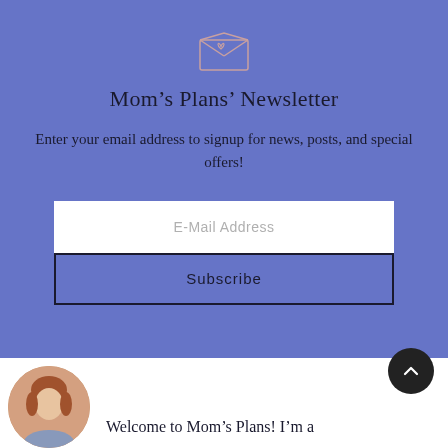[Figure (illustration): Envelope icon with a heart, outline style, light pink/rose color on blue background]
Mom’s Plans’ Newsletter
Enter your email address to signup for news, posts, and special offers!
E-Mail Address
Subscribe
[Figure (photo): Circular profile photo of a woman with reddish-brown hair]
Welcome to Mom’s Plans! I’m a